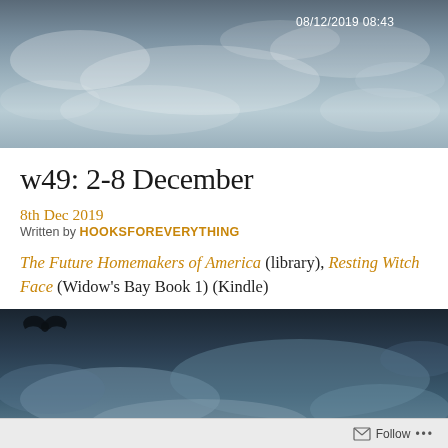[Figure (photo): Sky with clouds, top banner photo with timestamp 08/12/2019 08:43 in white text]
w49: 2-8 December
8th Dec 2019
Written by HOOKSFOREVERYTHING
The Future Homemakers of America (library), Resting Witch Face (Widow's Bay Book 1) (Kindle)
[Figure (photo): Dark moody sky with clouds and bat silhouette in upper left corner]
Follow